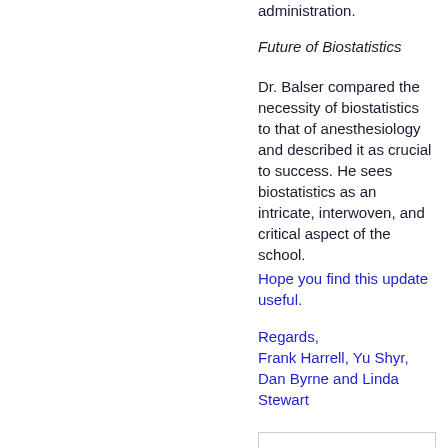administration.
Future of Biostatistics
Dr. Balser compared the necessity of biostatistics to that of anesthesiology and described it as crucial to success. He sees biostatistics as an intricate, interwoven, and critical aspect of the school.
Hope you find this update useful.
Regards,
Frank Harrell, Yu Shyr, Dan Byrne and Linda Stewart